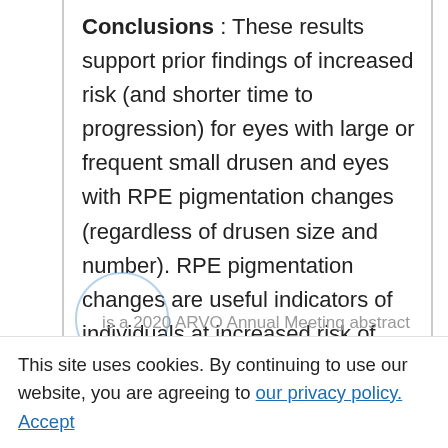Conclusions : These results support prior findings of increased risk (and shorter time to progression) for eyes with large or frequent small drusen and eyes with RPE pigmentation changes (regardless of drusen size and number). RPE pigmentation changes are useful indicators of individuals at increased risk of progression, and statistical models of progression to advanced AMD should incorporate both genetic factors and ocular traits measured by fundus photography and optical coherence tomography.
This site uses cookies. By continuing to use our website, you are agreeing to our privacy policy. Accept